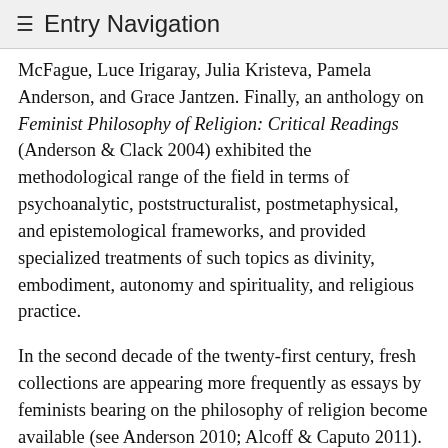≡ Entry Navigation
McFague, Luce Irigaray, Julia Kristeva, Pamela Anderson, and Grace Jantzen. Finally, an anthology on Feminist Philosophy of Religion: Critical Readings (Anderson & Clack 2004) exhibited the methodological range of the field in terms of psychoanalytic, poststructuralist, postmetaphysical, and epistemological frameworks, and provided specialized treatments of such topics as divinity, embodiment, autonomy and spirituality, and religious practice.
In the second decade of the twenty-first century, fresh collections are appearing more frequently as essays by feminists bearing on the philosophy of religion become available (see Anderson 2010; Alcoff & Caputo 2011).
2. Feminist Critique of Traditional Philosophy of Religion